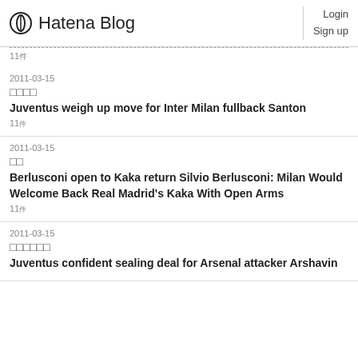Hatena Blog — Login Sign up
11件
2011-03-15
日本語テキスト
Juventus weigh up move for Inter Milan fullback Santon
11件
2011-03-15
日本語
Berlusconi open to Kaka return Silvio Berlusconi: Milan Would Welcome Back Real Madrid's Kaka With Open Arms
11件
2011-03-15
日本語テキスト
Juventus confident sealing deal for Arsenal attacker Arshavin